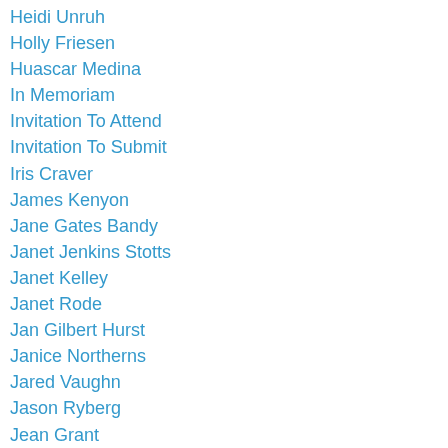Heidi Unruh
Holly Friesen
Huascar Medina
In Memoriam
Invitation To Attend
Invitation To Submit
Iris Craver
James Kenyon
Jane Gates Bandy
Janet Jenkins Stotts
Janet Kelley
Janet Rode
Jan Gilbert Hurst
Janice Northerns
Jared Vaughn
Jason Ryberg
Jean Grant
Jeff Broome
Jeff Guernsey
Jerilynn Henrikson
Jim Potter